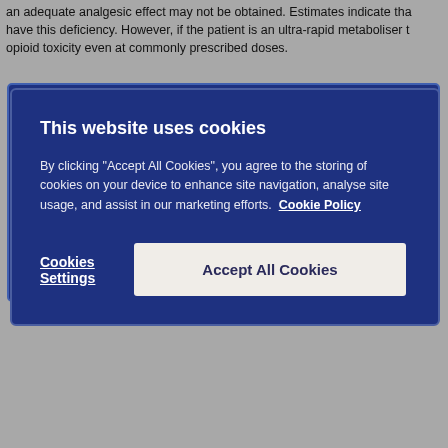an adequate analgesic effect may not be obtained. Estimates indicate that have this deficiency. However, if the patient is an ultra-rapid metaboliser t opioid toxicity even at commonly prescribed doses.
[Figure (screenshot): Cookie consent modal overlay with dark navy blue background. Title: 'This website uses cookies'. Body text about cookies policy with 'Cookie Policy' link. Two buttons: 'Cookies Settings' (text link) and 'Accept All Cookies' (light button).]
Greek    6.0%
Hungarian    1.9%
Northern European    1% to 2%
Post-operative use in children
There have been reports in the published literature that tramadol given po and/or adenoidectomy for obstructive sleep apnoea, led to rare, but life th should be exercised when tramadol is administered to children for post-op by close monitoring for symptoms of opioid toxicity including respiratory de
Children with compromised respiratory function
Tramadol is not recommended for use in children in whom respiratory fu